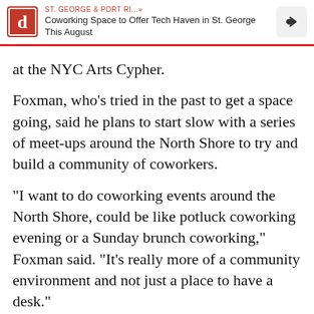ST. GEORGE & PORT RI...» Coworking Space to Offer Tech Haven in St. George This August
at the NYC Arts Cypher.
Foxman, who's tried in the past to get a space going, said he plans to start slow with a series of meet-ups around the North Shore to try and build a community of coworkers.
"I want to do coworking events around the North Shore, could be like potluck coworking evening or a Sunday brunch coworking," Foxman said. "It's really more of a community environment and not just a place to have a desk."
Lawrie, who also runs his startup INBOX25 out of the building, agrees and hopes to attract workers from different fields, offer workshops, and create a collaborative